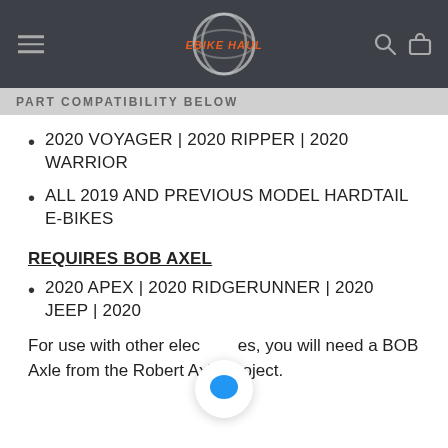EBIKE HAUL
PART COMPATIBILITY BELOW
2020 VOYAGER | 2020 RIPPER | 2020 WARRIOR
ALL 2019 AND PREVIOUS MODEL HARDTAIL E-BIKES
REQUIRES BOB AXEL
2020 APEX | 2020 RIDGERUNNER | 2020 JEEP | 2020
For use with other electric bikes, you will need a BOB Axle from the Robert Axle Project.